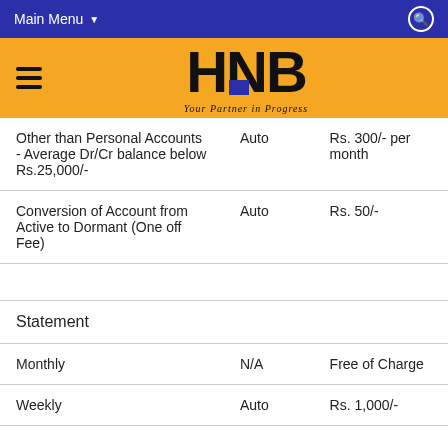Main Menu
[Figure (logo): HNB - Your Partner in Progress logo on orange background with hamburger menu icon]
|  |  |  |
| --- | --- | --- |
| Other than Personal Accounts - Average Dr/Cr balance below Rs.25,000/- | Auto | Rs. 300/- per month |
| Conversion of Account from Active to Dormant (One off Fee) | Auto | Rs. 50/- |
|  |  |  |
| Statement |  |  |
| Monthly | N/A | Free of Charge |
| Weekly | Auto | Rs. 1,000/- |